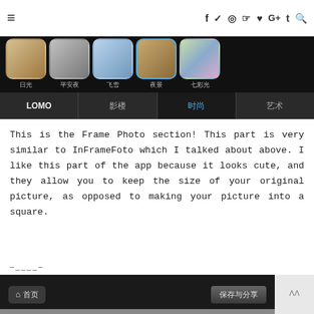≡  f  ✓  ◎  ☞  ♥  G+  t  🔍
[Figure (screenshot): Mobile app screenshot showing filter selection row with teddy bear icons labeled 日光, 平安夜, 飞雪, 夜景, 七彩光 and tab row with LOMO, 影楼, 时尚 (active), 艺术]
This is the Frame Photo section! This part is very similar to InFrameFoto which I talked about above. I like this part of the app because it looks cute, and they allow you to keep the size of your original picture, as opposed to making your picture into a square.
–____–
[Figure (screenshot): Mobile app screenshot showing bottom navigation with 首页 (home) button on left and 保存与分享 (save and share) button on right, with a photo of rainy scene below]